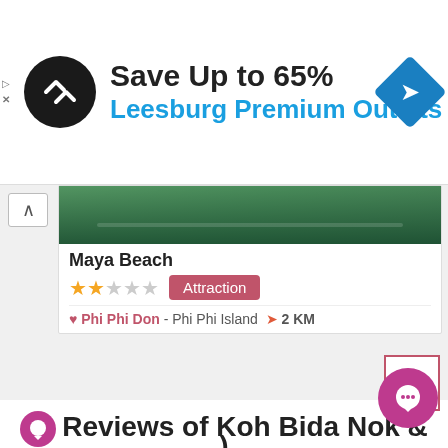[Figure (screenshot): Advertisement banner for Leesburg Premium Outlets showing logo, 'Save Up to 65%' text, and navigation icon]
Save Up to 65%
Leesburg Premium Outlets
[Figure (screenshot): Travel app UI showing Maya Beach attraction card with 2-star rating, Attraction tag, location Phi Phi Don - Phi Phi Island, 2 KM distance]
Maya Beach
Attraction
Phi Phi Don - Phi Phi Island  2 KM
Phi Phi L
Reviews of Koh Bida Nok & Koh Bida Nai (
)